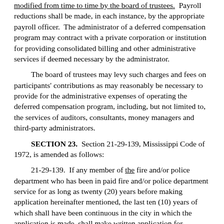modified from time to time by the board of trustees. Payroll reductions shall be made, in each instance, by the appropriate payroll officer. The administrator of a deferred compensation program may contract with a private corporation or institution for providing consolidated billing and other administrative services if deemed necessary by the administrator.
The board of trustees may levy such charges and fees on participants' contributions as may reasonably be necessary to provide for the administrative expenses of operating the deferred compensation program, including, but not limited to, the services of auditors, consultants, money managers and third-party administrators.
SECTION 23. Section 21-29-139, Mississippi Code of 1972, is amended as follows:
21-29-139. If any member of the fire and/or police department who has been in paid fire and/or police department service for as long as twenty (20) years before making application hereinafter mentioned, the last ten (10) years of which shall have been continuous in the city in which the application is made, shall make written application for retirement and relief, the board of disability and relief shall, without medical examination of disability, retire him from active service in the fire and/or police department. Upon such retirement from active service, the board of disability and